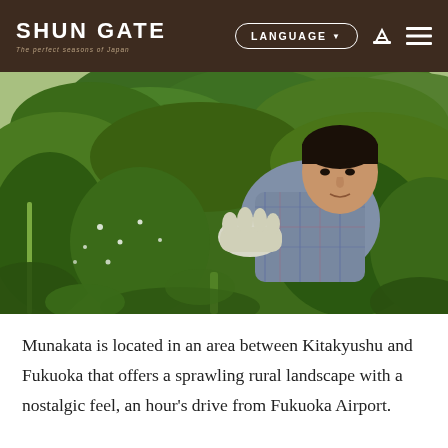SHUN GATE — The perfect seasons of Japan | LANGUAGE ▼
[Figure (photo): A man wearing gloves and a plaid shirt reaches through dense green foliage and leafy plants in an outdoor garden or farm setting. Large trees and shrubs fill the background.]
Munakata is located in an area between Kitakyushu and Fukuoka that offers a sprawling rural landscape with a nostalgic feel, an hour's drive from Fukuoka Airport.